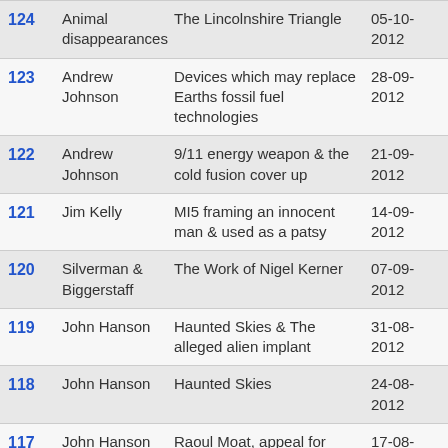| # | Guest | Topic | Date |  |
| --- | --- | --- | --- | --- |
| 124 | Animal disappearances | The Lincolnshire Triangle | 05-10-2012 | Watch |
| 123 | Andrew Johnson | Devices which may replace Earths fossil fuel technologies | 28-09-2012 | Watch |
| 122 | Andrew Johnson | 9/11 energy weapon & the cold fusion cover up | 21-09-2012 | Watch |
| 121 | Jim Kelly | MI5 framing an innocent man & used as a patsy | 14-09-2012 | Watch |
| 120 | Silverman & Biggerstaff | The Work of Nigel Kerner | 07-09-2012 | Watch |
| 119 | John Hanson | Haunted Skies & The alleged alien implant | 31-08-2012 | Watch |
| 118 | John Hanson | Haunted Skies | 24-08-2012 | Watch |
| 117 | John Hanson | Raoul Moat, appeal for information. | 17-08-2012 | Watch |
| 116 | John Hanson | Haunted Skies, British UFO encyclopedia series | 10-08-2012 | Watch |
| 115 | Dan Sherman | Secret N.S.A. E.T. communication project | 03-08-2012 | Watch |